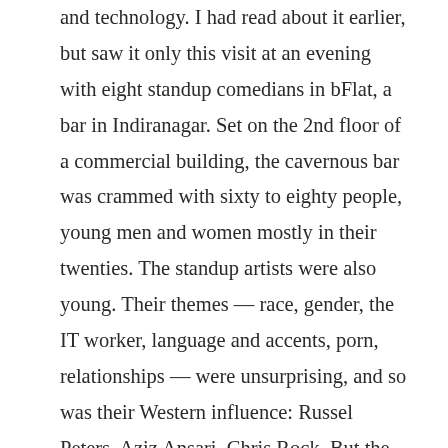and technology. I had read about it earlier, but saw it only this visit at an evening with eight standup comedians in bFlat, a bar in Indiranagar. Set on the 2nd floor of a commercial building, the cavernous bar was crammed with sixty to eighty people, young men and women mostly in their twenties. The standup artists were also young. Their themes — race, gender, the IT worker, language and accents, porn, relationships — were unsurprising, and so was their Western influence: Russel Peters, Aziz Ansari, Chris Rock. But the jokes gathered an original quality from the setting they used — the Indian context, rich with material waiting to be picked apart. This crowd was a fairly new class, young liberal urbanites at ease in the global culture and sharing its attitudes, and they had to deal with others